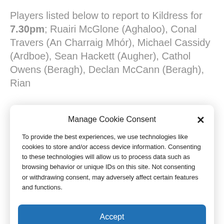Players listed below to report to Kildress for 7.30pm; Ruairi McGlone (Aghaloo), Conal Travers (An Charraig Mhór), Michael Cassidy (Ardboe), Sean Hackett (Augher), Cathol Owens (Beragh), Declan McCann (Beragh), Rian...
Manage Cookie Consent
To provide the best experiences, we use technologies like cookies to store and/or access device information. Consenting to these technologies will allow us to process data such as browsing behavior or unique IDs on this site. Not consenting or withdrawing consent, may adversely affect certain features and functions.
Accept
Deny
View preferences